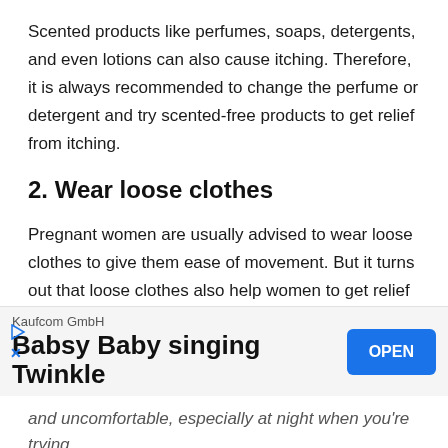Scented products like perfumes, soaps, detergents, and even lotions can also cause itching. Therefore, it is always recommended to change the perfume or detergent and try scented-free products to get relief from itching.
2. Wear loose clothes
Pregnant women are usually advised to wear loose clothes to give them ease of movement. But it turns out that loose clothes also help women to get relief from the itching sensation experienced during pregnancy.
[Figure (other): Mobile app advertisement banner for 'Babsy Baby singing Twinkle' by Kaufcom GmbH with an OPEN button]
and uncomfortable, especially at night when you're trying